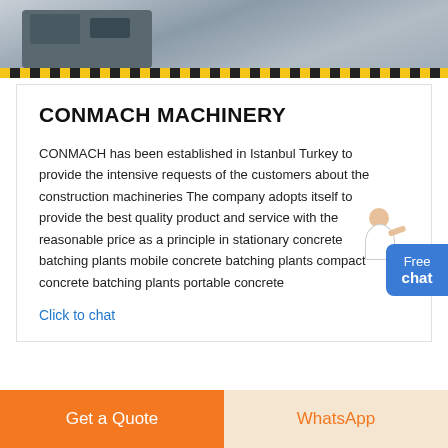[Figure (photo): Photograph of industrial construction machinery equipment, partially cropped at top of page]
CONMACH MACHINERY
CONMACH has been established in Istanbul Turkey to provide the intensive requests of the customers about the construction machineries The company adopts itself to provide the best quality product and service with the reasonable price as a principle in stationary concrete batching plants mobile concrete batching plants compact concrete batching plants portable concrete
Click to chat
[Figure (illustration): Free chat widget with person illustration and blue button labeled Free chat]
Get a Quote | WhatsApp